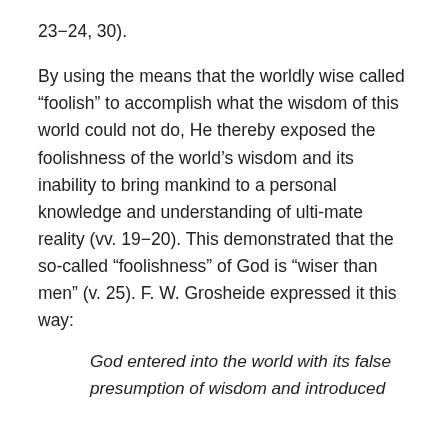23–24, 30).
By using the means that the worldly wise called “foolish” to accomplish what the wisdom of this world could not do, He thereby exposed the foolishness of the world’s wisdom and its inability to bring mankind to a personal knowledge and understanding of ulti-mate reality (vv. 19–20). This demonstrated that the so-called “foolishness” of God is “wiser than men” (v. 25). F. W. Grosheide expressed it this way:
God entered into the world with its false presumption of wisdom and introduced